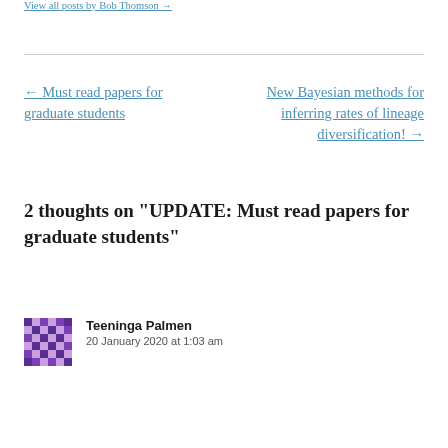View all posts by Bob Thomson →
← Must read papers for graduate students
New Bayesian methods for inferring rates of lineage diversification! →
2 thoughts on “UPDATE: Must read papers for graduate students”
Teeninga Palmen
20 January 2020 at 1:03 am